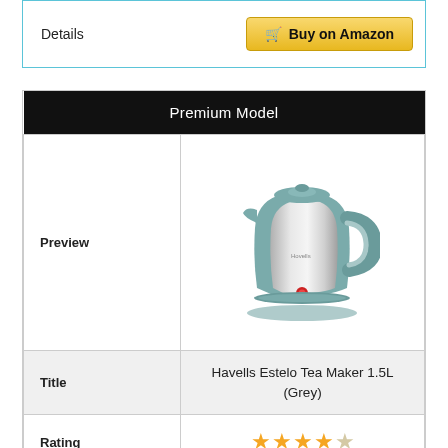Details
Buy on Amazon
|  | Premium Model |
| --- | --- |
| Preview | [image of Havells Estelo Tea Maker kettle] |
| Title | Havells Estelo Tea Maker 1.5L (Grey) |
| Rating | ★★★★☆ (approx 4/5) |
| Price | ₹ 3,300 |